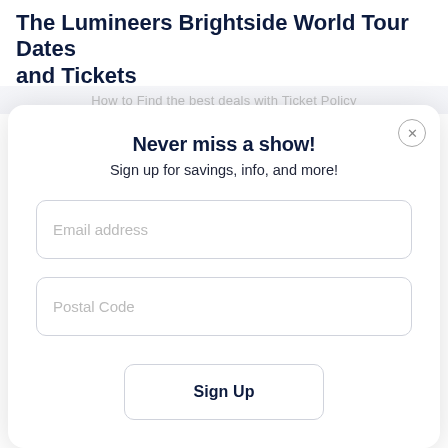The Lumineers Brightside World Tour Dates and Tickets
Never miss a show!
Sign up for savings, info, and more!
Email address
Postal Code
Sign Up